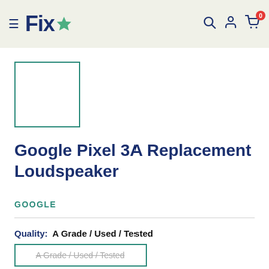[Figure (logo): Fixo logo with hamburger menu icon on left, star icon inside logo text, on beige/cream header background with search, user, and cart icons on right]
[Figure (other): Product image placeholder - empty white box with teal border]
Google Pixel 3A Replacement Loudspeaker
GOOGLE
Quality: A Grade / Used / Tested
A Grade / Used / Tested